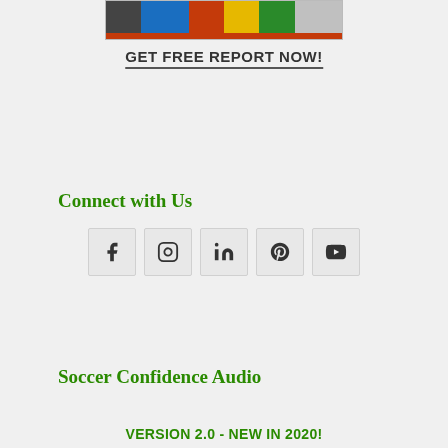[Figure (screenshot): A small banner image with colored bar segments and an orange/red bar below]
GET FREE REPORT NOW!
Connect with Us
[Figure (infographic): Social media icons: Facebook, Instagram, LinkedIn, Pinterest, YouTube]
Soccer Confidence Audio
VERSION 2.0 - NEW IN 2020!